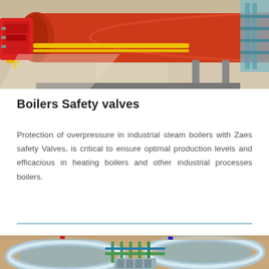[Figure (photo): Industrial boiler with red burner unit and yellow gas piping inside a facility, viewed from the side on a concrete floor.]
Boilers Safety valves
Protection of overpressure in industrial steam boilers with Zaes safety Valves, is critical to ensure optimal production levels and efficacious in heating boilers and other industrial processes boilers.
[Figure (photo): Aerial view of a large industrial water treatment or storage facility showing oval/round tank structures with blue piping and green pipe networks on sandy/brown ground.]